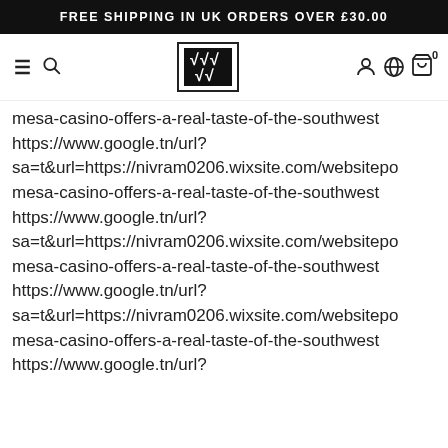FREE SHIPPING IN UK ORDERS OVER £30.00
[Figure (logo): Website navigation bar with hamburger menu, search icon, SS logo in black square, user/globe/cart icons]
mesa-casino-offers-a-real-taste-of-the-southwest https://www.google.tn/url?sa=t&url=https://nivram0206.wixsite.com/websitepo mesa-casino-offers-a-real-taste-of-the-southwest https://www.google.tn/url?sa=t&url=https://nivram0206.wixsite.com/websitepo mesa-casino-offers-a-real-taste-of-the-southwest https://www.google.tn/url?sa=t&url=https://nivram0206.wixsite.com/websitepo mesa-casino-offers-a-real-taste-of-the-southwest https://www.google.tn/url?